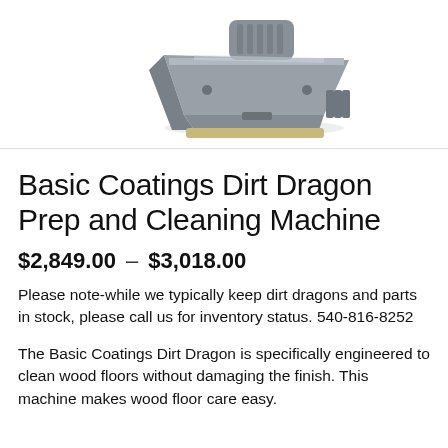[Figure (photo): Photo of a grey Basic Coatings Dirt Dragon Prep and Cleaning Machine tool, shown from above at an angle.]
Basic Coatings Dirt Dragon Prep and Cleaning Machine
$2,849.00 – $3,018.00
Please note-while we typically keep dirt dragons and parts in stock, please call us for inventory status. 540-816-8252
The Basic Coatings Dirt Dragon is specifically engineered to clean wood floors without damaging the finish. This machine makes wood floor care easy.